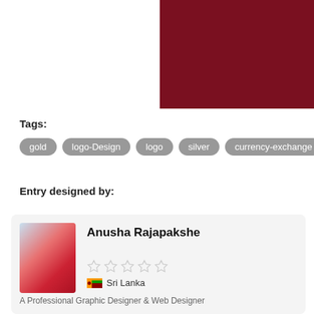[Figure (other): Dark red/maroon colored rectangular block in upper right area]
Tags:
gold
logo-Design
logo
silver
currency-exchange
Entry designed by:
[Figure (photo): Profile photo of Anusha Rajapakshe, a woman in a red outfit]
Anusha Rajapakshe
[Figure (other): 5 empty star rating icons]
🇱🇰 Sri Lanka
A Professional Graphic Designer & Web Designer